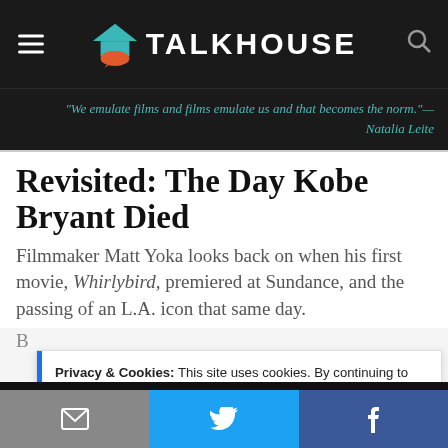TALKHOUSE
"We emulate films and films emulate us and that becomes the norm."— Natalia Leite
Revisited: The Day Kobe Bryant Died
Filmmaker Matt Yoka looks back on when his first movie, Whirlybird, premiered at Sundance, and the passing of an L.A. icon that same day.
Privacy & Cookies: This site uses cookies. By continuing to use this website, you agree to their use.
To find out more, including how to control cookies, see here: Cookie Policy
email | twitter | facebook